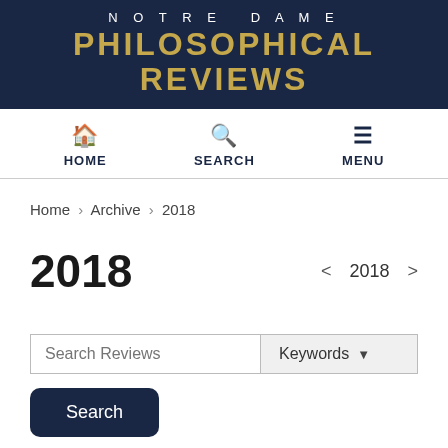NOTRE DAME PHILOSOPHICAL REVIEWS
HOME SEARCH MENU
Home › Archive › 2018
2018
Search Reviews | Keywords | Search